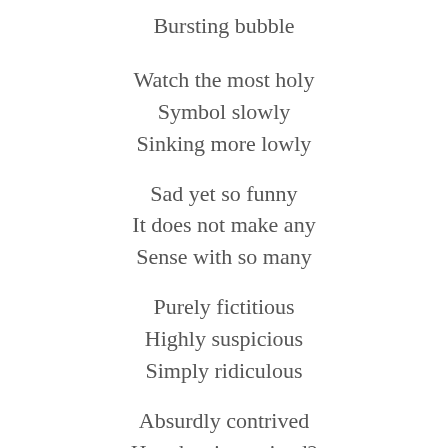Bursting bubble
Watch the most holy
Symbol slowly
Sinking more lowly
Sad yet so funny
It does not make any
Sense with so many
Purely fictitious
Highly suspicious
Simply ridiculous
Absurdly contrived
How has it survived?
The time has arrived -